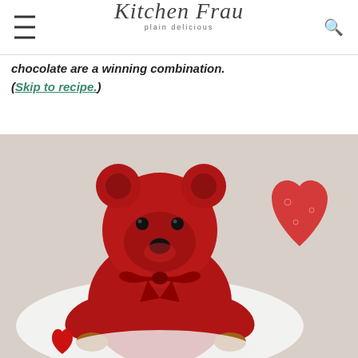Kitchen Frau — plain delicious
chocolate are a winning combination. (Skip to recipe.)
[Figure (photo): A red stuffed teddy bear with a dark red ribbon bow, sitting in front of a red heart-shaped Valentine card on a white lace doily. The bear has black button eyes and a black nose.]